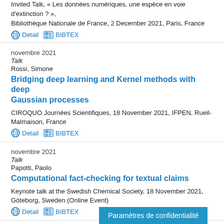Invited Talk, "Les données numériques, une espèce en voie d'extinction ?", Bibliothèque Nationale de France, 2 December 2021, Paris, France
Detail   BIBTEX
novembre 2021
Talk
Rossi, Simone
Bridging deep learning and Kernel methods with deep Gaussian processes
CIROQUO Journées Scientifiques, 18 November 2021, IFPEN, Rueil-Malmaison, France
Detail   BIBTEX
novembre 2021
Talk
Papotti, Paolo
Computational fact-checking for textual claims
Keynote talk at the Swedish Chemical Society, 18 November 2021, Göteborg, Sweden (Online Event)
Detail   BIBTEX
novembre 2021
Talk
Paramètres de confidentialité
Nous utilisons des cookies pour améliorer...